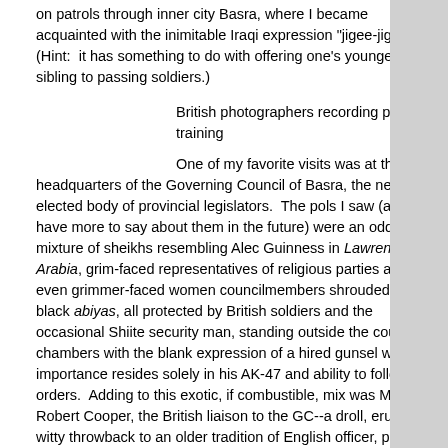on patrols through inner city Basra, where I became acquainted with the inimitable Iraqi expression "jigee-jigee."  (Hint:  it has something to do with offering one's younger sibling to passing soldiers.)
British photographers recording police training
One of my favorite visits was at the headquarters of the Governing Council of Basra, the newly-elected body of provincial legislators.  The pols I saw (and I'll have more to say about them in the future) were an odd mixture of sheikhs resembling Alec Guinness in Lawrence of Arabia, grim-faced representatives of religious parties and even grimmer-faced women councilmembers shrouded in black abiyas, all protected by British soldiers and the occasional Shiite security man, standing outside the council chambers with the blank expression of a hired gunsel whose importance resides solely in his AK-47 and ability to follow orders.  Adding to this exotic, if combustible, mix was Major Robert Cooper, the British liaison to the GC--a droll, erudite, witty throwback to an older tradition of English officer, part diplomat, part warrior, with a touch of the poet beneath the camouflaged khaki and neckerchief tied in a dashing cravat.